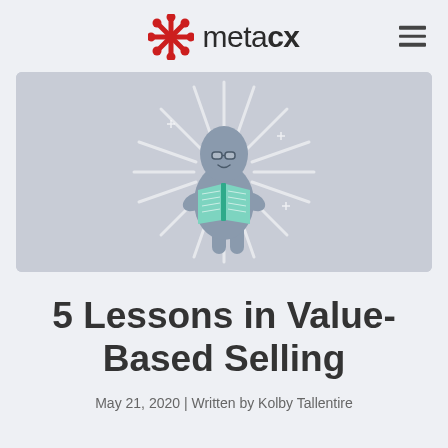[Figure (logo): MetaCX logo: red asterisk/snowflake icon beside the text 'meta' in light weight and 'CX' in bold, dark color]
[Figure (illustration): A cartoon rounded character with glasses reading an open green book, with white rays radiating outward, on a light grey background]
5 Lessons in Value-Based Selling
May 21, 2020 | Written by Kolby Tallentire